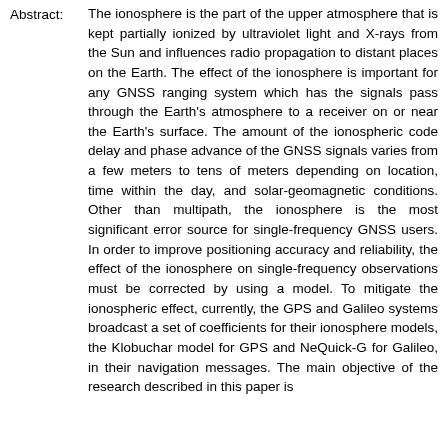Abstract: The ionosphere is the part of the upper atmosphere that is kept partially ionized by ultraviolet light and X-rays from the Sun and influences radio propagation to distant places on the Earth. The effect of the ionosphere is important for any GNSS ranging system which has the signals pass through the Earth's atmosphere to a receiver on or near the Earth's surface. The amount of the ionospheric code delay and phase advance of the GNSS signals varies from a few meters to tens of meters depending on location, time within the day, and solar-geomagnetic conditions. Other than multipath, the ionosphere is the most significant error source for single-frequency GNSS users. In order to improve positioning accuracy and reliability, the effect of the ionosphere on single-frequency observations must be corrected by using a model. To mitigate the ionospheric effect, currently, the GPS and Galileo systems broadcast a set of coefficients for their ionosphere models, the Klobuchar model for GPS and NeQuick-G for Galileo, in their navigation messages. The main objective of the research described in this paper is